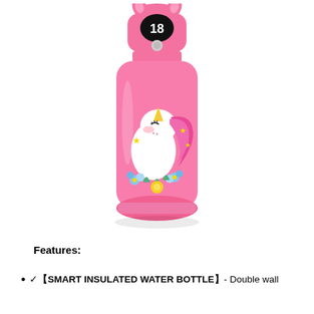[Figure (photo): Pink insulated water bottle with unicorn design on the body and a digital temperature display showing '18' on the lid/cap area. The bottle has a pink carry handle on top. The unicorn graphic features a white unicorn with pink mane, golden horn, flowers and stars.]
Features:
✓【SMART INSULATED WATER BOTTLE】- Double wall